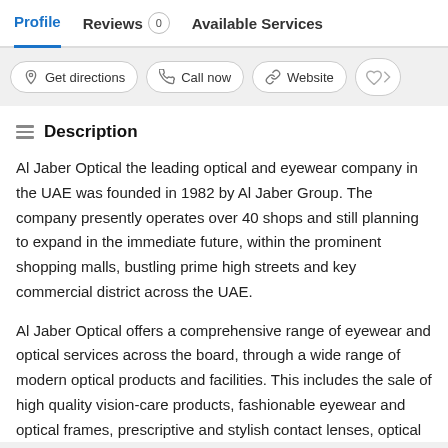Profile   Reviews 0   Available Services
Get directions   Call now   Website
Description
Al Jaber Optical the leading optical and eyewear company in the UAE was founded in 1982 by Al Jaber Group. The company presently operates over 40 shops and still planning to expand in the immediate future, within the prominent shopping malls, bustling prime high streets and key commercial district across the UAE.
Al Jaber Optical offers a comprehensive range of eyewear and optical services across the board, through a wide range of modern optical products and facilities. This includes the sale of high quality vision-care products, fashionable eyewear and optical frames, prescriptive and stylish contact lenses, optical